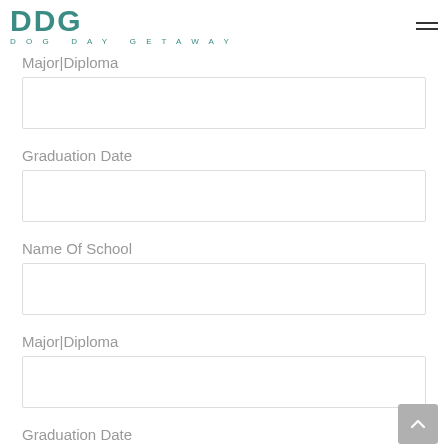DDG DOG DAY GETAWAY
Major|Diploma
Graduation Date
Name Of School
Major|Diploma
Graduation Date